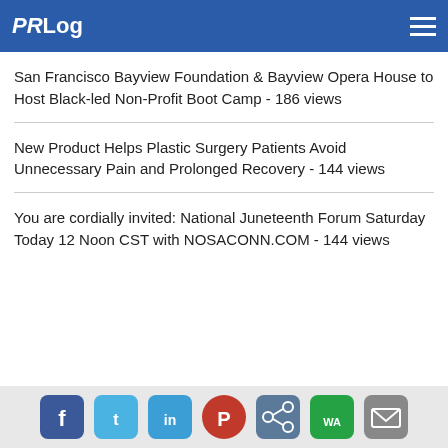PRLog
San Francisco Bayview Foundation & Bayview Opera House to Host Black-led Non-Profit Boot Camp - 186 views
New Product Helps Plastic Surgery Patients Avoid Unnecessary Pain and Prolonged Recovery - 144 views
You are cordially invited: National Juneteenth Forum Saturday Today 12 Noon CST with NOSACONN.COM - 144 views
Social share icons: Facebook, Twitter, LinkedIn, Pinterest, Share, WhatsApp, Email